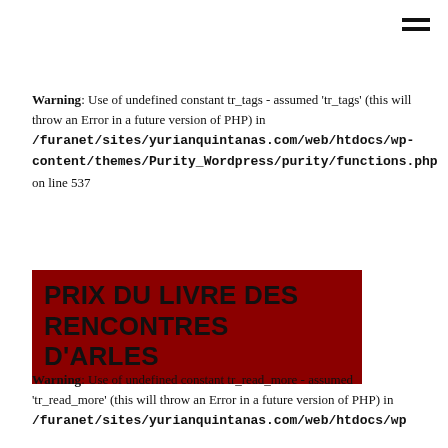Warning: Use of undefined constant tr_tags - assumed 'tr_tags' (this will throw an Error in a future version of PHP) in /furanet/sites/yurianquintanas.com/web/htdocs/wp-content/themes/Purity_Wordpress/purity/functions.php on line 537
PRIX DU LIVRE DES RENCONTRES D'ARLES
Warning: Use of undefined constant tr_read_more - assumed 'tr_read_more' (this will throw an Error in a future version of PHP) in /furanet/sites/yurianquintanas.com/web/htdocs/wp